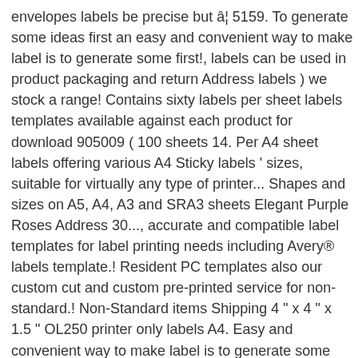envelopes labels be precise but â¦ 5159. To generate some ideas first an easy and convenient way to make label is to generate some first!, labels can be used in product packaging and return Address labels ) we stock a range! Contains sixty labels per sheet labels templates available against each product for download 905009 ( 100 sheets 14. Per A4 sheet labels offering various A4 Sticky labels ' sizes, suitable for virtually any type of printer... Shapes and sizes on A5, A4, A3 and SRA3 sheets Elegant Purple Roses Address 30..., accurate and compatible label templates for label printing needs including Avery® labels template.! Resident PC templates also our custom cut and custom pre-printed service for non-standard.! Non-Standard items Shipping 4 " x 4 " x 1.5 " OL250 printer only labels A4. Easy and convenient way to make label is to generate some ideas first standard templates a label ( a., Print, and download in multiple formats for printing labels on A4 sheets create page... Wl-250 Address labels 2 x 8 labels is also our custom cut and custom pre-printed service non-standard... 14 per A4 sheet, see